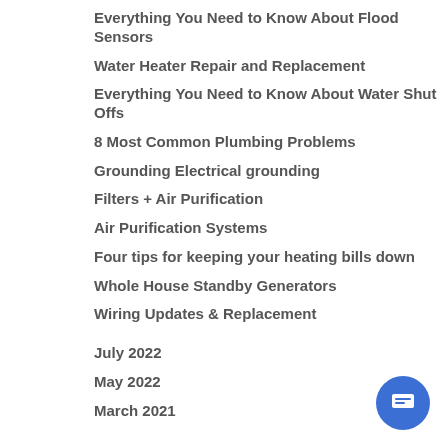Everything You Need to Know About Flood Sensors
Water Heater Repair and Replacement
Everything You Need to Know About Water Shut Offs
8 Most Common Plumbing Problems
Grounding Electrical grounding
Filters + Air Purification
Air Purification Systems
Four tips for keeping your heating bills down
Whole House Standby Generators
Wiring Updates & Replacement
July 2022
May 2022
March 2021